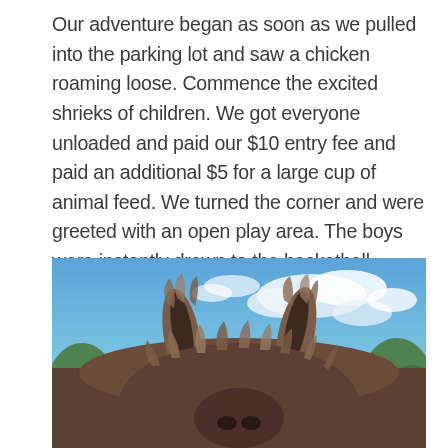Our adventure began as soon as we pulled into the parking lot and saw a chicken roaming loose. Commence the excited shrieks of children. We got everyone unloaded and paid our $10 entry fee and paid an additional $5 for a large cup of animal feed. We turned the corner and were greeted with an open play area. The boys were instantly drawn to the basketball hoops hung on the barn wall, a large net to throw/kick balls into, corn hole, and other sporty endeavors. The girls immediately gravitated to the alpacas, doneys, emus, goats, etc. that were surrounding the area and separated from visitors by fencing. There were also water-pump rubber duck races and a small tube maze.
[Figure (photo): Close-up photo of a shaggy animal (likely an alpaca or similar) from below, showing its fuzzy ears and face against a blue sky with white clouds and green trees in the background.]